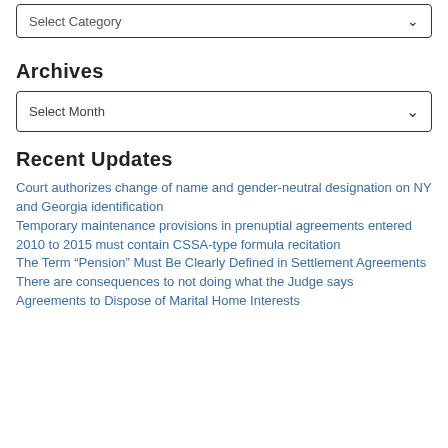Select Category
Archives
Select Month
Recent Updates
Court authorizes change of name and gender-neutral designation on NY and Georgia identification
Temporary maintenance provisions in prenuptial agreements entered 2010 to 2015 must contain CSSA-type formula recitation
The Term “Pension” Must Be Clearly Defined in Settlement Agreements
There are consequences to not doing what the Judge says
Agreements to Dispose of Marital Home Interests